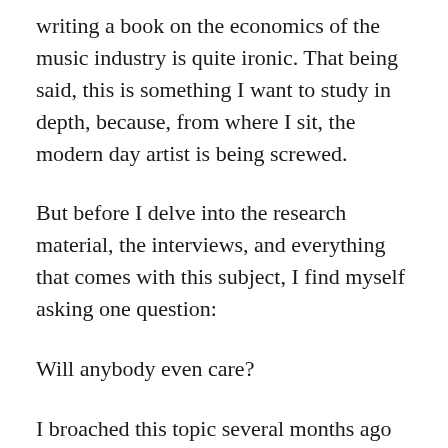writing a book on the economics of the music industry is quite ironic. That being said, this is something I want to study in depth, because, from where I sit, the modern day artist is being screwed.
But before I delve into the research material, the interviews, and everything that comes with this subject, I find myself asking one question:
Will anybody even care?
I broached this topic several months ago with a friend, who is a relatively well-known local musician. I explained my potential book's